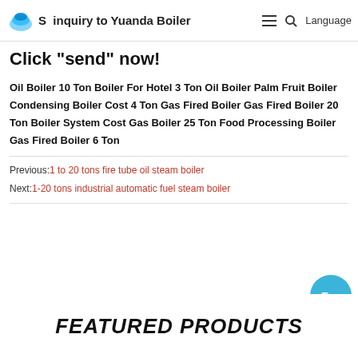Send inquiry to Yuanda Boiler | Language
Click "send" now!
Oil Boiler 10 Ton Boiler For Hotel 3 Ton Oil Boiler Palm Fruit Boiler Condensing Boiler Cost 4 Ton Gas Fired Boiler Gas Fired Boiler 20 Ton Boiler System Cost Gas Boiler 25 Ton Food Processing Boiler Gas Fired Boiler 6 Ton
Previous: 1 to 20 tons fire tube oil steam boiler
Next: 1-20 tons industrial automatic fuel steam boiler
FEATURED PRODUCTS